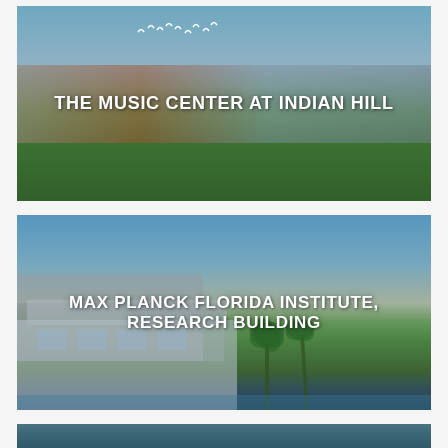[Figure (photo): Architectural rendering of The Music Center at Indian Hill – outdoor performance venue with curved roof structure, red accent building, and large glass pavilion set against a blue sky and green lawn, with birds flying overhead]
THE MUSIC CENTER AT INDIAN HILL
[Figure (photo): Photograph of Max Planck Florida Institute Research Building – modern white/grey multi-story research facility with palm trees and a reflecting pond in the foreground under a blue sky]
MAX PLANCK FLORIDA INSTITUTE, RESEARCH BUILDING
[Figure (photo): Partial view of a third building card with teal/blue color scheme, partially cut off at the bottom of the page]